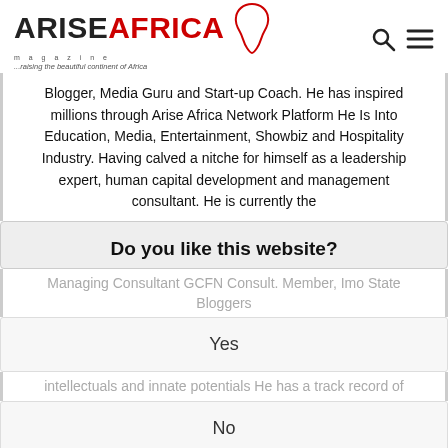[Figure (logo): Arise Africa Magazine logo with Africa continent shape, tagline 'magazine' and '...raising the beautiful continent of Africa']
Blogger, Media Guru and Start-up Coach. He has inspired millions through Arise Africa Network Platform He Is Into Education, Media, Entertainment, Showbiz and Hospitality Industry. Having calved a nitche for himself as a leadership expert, human capital development and management consultant. He is currently the
Do you like this website?
Managing Consultant GCFN Consult. Member, Imo State Bloggers
Yes
intellectuals and innate potentials He has a track record of
No
Kennys Foods Limited from 2004 – 2019, Management Consultant